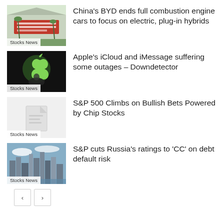[Figure (photo): BYD storefront with red signage, outdoor building photo]
Stocks News
China's BYD ends full combustion engine cars to focus on electric, plug-in hybrids
[Figure (photo): Apple logo glowing green on black background with silhouette]
Stocks News
Apple's iCloud and iMessage suffering some outages – Downdetector
[Figure (photo): Light grey background with faint document icon]
Stocks News
S&P 500 Climbs on Bullish Bets Powered by Chip Stocks
[Figure (photo): City skyline with tall buildings under blue sky]
Stocks News
S&P cuts Russia's ratings to 'CC' on debt default risk